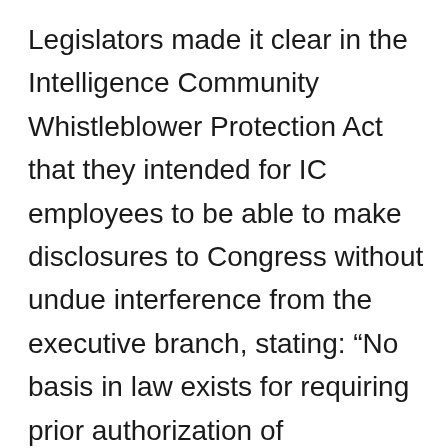Legislators made it clear in the Intelligence Community Whistleblower Protection Act that they intended for IC employees to be able to make disclosures to Congress without undue interference from the executive branch, stating: “No basis in law exists for requiring prior authorization of disclosures to the intelligence committees of Congress by employees of the executive branch of classified information about wrongdoing within the Intelligence Community.”⁷ They further expressed that Congress “is empowered by the